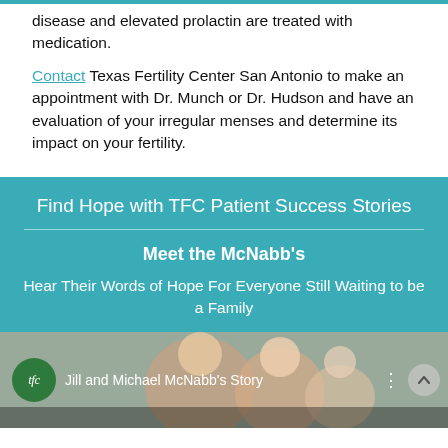disease and elevated prolactin are treated with medication.
Contact Texas Fertility Center San Antonio to make an appointment with Dr. Munch or Dr. Hudson and have an evaluation of your irregular menses and determine its impact on your fertility.
Find Hope with TFC Patient Success Stories
Meet the McNabb's
Hear Their Words of Hope For Everyone Still Waiting to be a Family
[Figure (screenshot): Video thumbnail showing Jill and Michael McNabb's Story with TFC logo, video title, menu dots and scroll up button. Background shows family photo.]